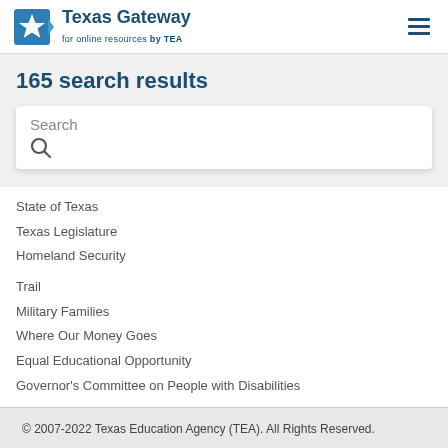Texas Gateway for online resources by TEA
165 search results
Search
State of Texas
Texas Legislature
Homeland Security
Trail
Military Families
Where Our Money Goes
Equal Educational Opportunity
Governor's Committee on People with Disabilities
© 2007-2022 Texas Education Agency (TEA). All Rights Reserved.